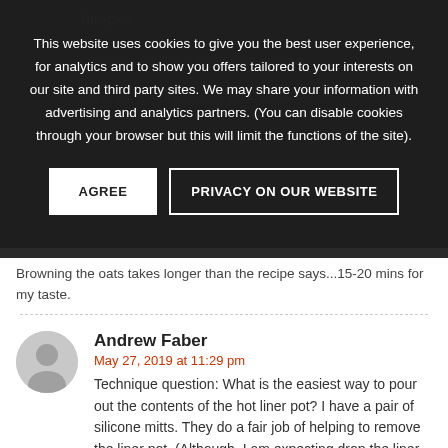This website uses cookies to give you the best user experience, for analytics and to show you offers tailored to your interests on our site and third party sites. We may share your information with advertising and analytics partners. (You can disable cookies through your browser but this will limit the functions of the site).
AGREE
PRIVACY ON OUR WEBSITE
Browning the oats takes longer than the recipe says...15-20 mins for my taste.
Andrew Faber
May 27, 2019 at 11:29 pm
Technique question: What is the easiest way to pour out the contents of the hot liner pot? I have a pair of silicone mitts. They do a fair job of helping to remove the liner pot. (Although, I am expecting drop the liner at